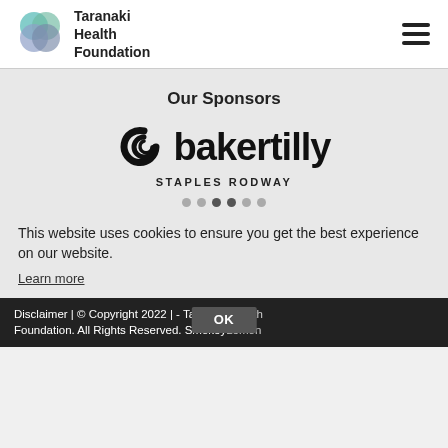[Figure (logo): Taranaki Health Foundation logo with overlapping circle icon and text]
Our Sponsors
[Figure (logo): Baker Tilly Staples Rodway logo with spiral C icon and bold bakertilly text]
This website uses cookies to ensure you get the best experience on our website.
Learn more
Disclaimer | © Copyright 2022 | - Taranaki Health Foundation. All Rights Reserved. SmokyLemon